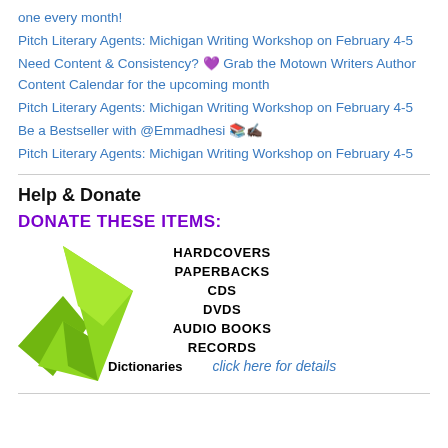one every month!
Pitch Literary Agents: Michigan Writing Workshop on February 4-5
Need Content & Consistency? 💜 Grab the Motown Writers Author Content Calendar for the upcoming month
Pitch Literary Agents: Michigan Writing Workshop on February 4-5
Be a Bestseller with @Emmadhesi 📚✍🏿
Pitch Literary Agents: Michigan Writing Workshop on February 4-5
Help & Donate
[Figure (infographic): Donate These Items infographic with green diamond/checkmark shape listing: HARDCOVERS, PAPERBACKS, CDS, DVDS, AUDIO BOOKS, RECORDS, Dictionaries]
click here for details